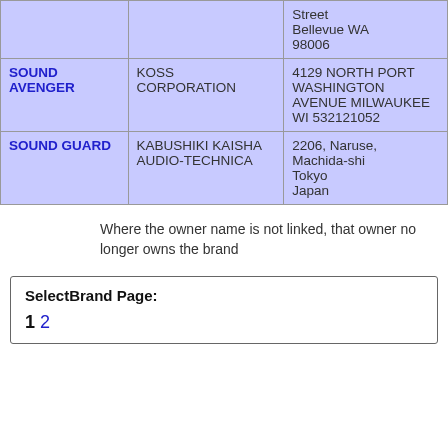| Brand | Owner | Address |
| --- | --- | --- |
|  |  | Street
Bellevue WA
98006 |
| SOUND AVENGER | KOSS CORPORATION | 4129 NORTH PORT WASHINGTON AVENUE MILWAUKEE WI 532121052 |
| SOUND GUARD | KABUSHIKI KAISHA AUDIO-TECHNICA | 2206, Naruse, Machida-shi Tokyo Japan |
Where the owner name is not linked, that owner no longer owns the brand
SelectBrand Page:
1 2